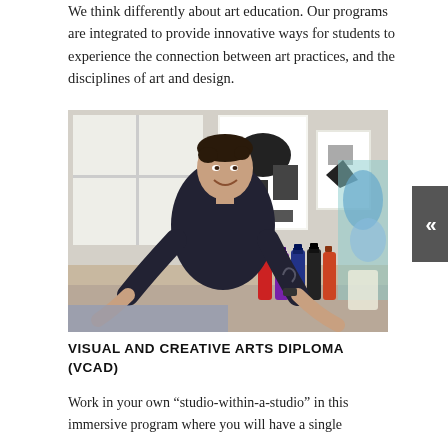We think differently about art education. Our programs are integrated to provide innovative ways for students to experience the connection between art practices, and the disciplines of art and design.
[Figure (photo): A young man in a dark t-shirt smiles and leans over a work table in an art studio, with colorful paint bottles and artwork/posters visible in the background.]
VISUAL AND CREATIVE ARTS DIPLOMA (VCAD)
Work in your own “studio-within-a-studio” in this immersive program where you will have a single...